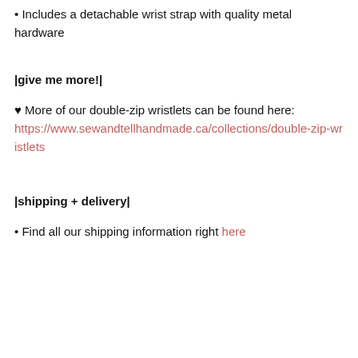Includes a detachable wrist strap with quality metal hardware
|give me more!|
♥ More of our double-zip wristlets can be found here: https://www.sewandtellhandmade.ca/collections/double-zip-wristlets
|shipping + delivery|
Find all our shipping information right here